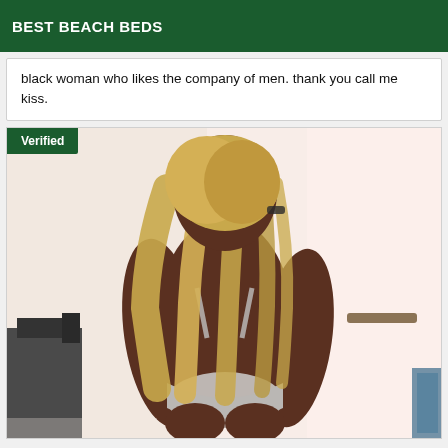BEST BEACH BEDS
black woman who likes the company of men. thank you call me kiss.
[Figure (photo): Photo of a person with long blonde hair, viewed from behind, wearing a light-colored swimsuit/bikini bottom, in an indoor setting with light walls. A 'Verified' badge appears in the top-left corner of the image.]